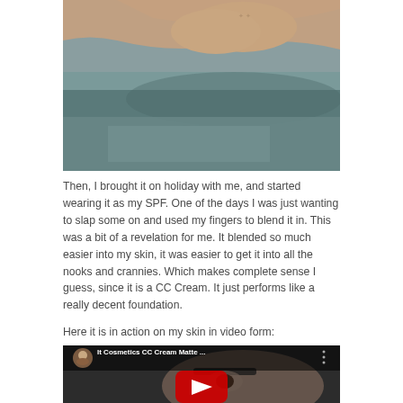[Figure (photo): Close-up photo of a person's forearm/hand against a grey background, appears to be a skin/cosmetic product swatch test]
Then, I brought it on holiday with me, and started wearing it as my SPF. One of the days I was just wanting to slap some on and used my fingers to blend it in. This was a bit of a revelation for me. It blended so much easier into my skin, it was easier to get it into all the nooks and crannies. Which makes complete sense I guess, since it is a CC Cream. It just performs like a really decent foundation.
Here it is in action on my skin in video form:
[Figure (screenshot): YouTube video thumbnail showing 'It Cosmetics CC Cream Matte ...' with a woman's face visible and the YouTube play button overlay]